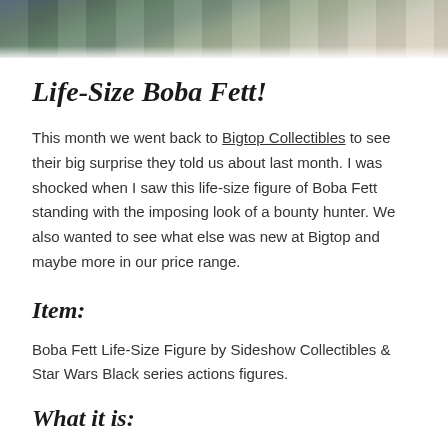[Figure (photo): Photo of collectible toy store shelves with Star Wars action figures in packaging at the top of the page]
Life-Size Boba Fett!
This month we went back to Bigtop Collectibles to see their big surprise they told us about last month. I was shocked when I saw this life-size figure of Boba Fett standing with the imposing look of a bounty hunter. We also wanted to see what else was new at Bigtop and maybe more in our price range.
Item:
Boba Fett Life-Size Figure by Sideshow Collectibles & Star Wars Black series actions figures.
What it is: